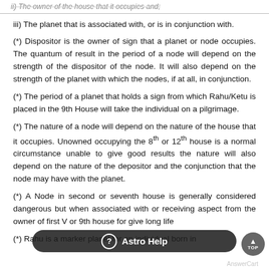ii) The owner of the house that it occupies and;
iii) The planet that is associated with, or is in conjunction with.
(*) Dispositor is the owner of sign that a planet or node occupies. The quantum of result in the period of a node will depend on the strength of the dispositor of the node. It will also depend on the strength of the planet with which the nodes, if at all, in conjunction.
(*) The period of a planet that holds a sign from which Rahu/Ketu is placed in the 9th House will take the individual on a pilgrimage.
(*) The nature of a node will depend on the nature of the house that it occupies. Unowned occupying the 8th or 12th house is a normal circumstance unable to give good results the nature will also depend on the nature of the depositor and the conjunction that the node may have with the planet.
(*) A Node in second or seventh house is generally considered dangerous but when associated with or receiving aspect from the owner of first V or 9th house for give long life
(*) Rahu is a marker planet for an individual born in